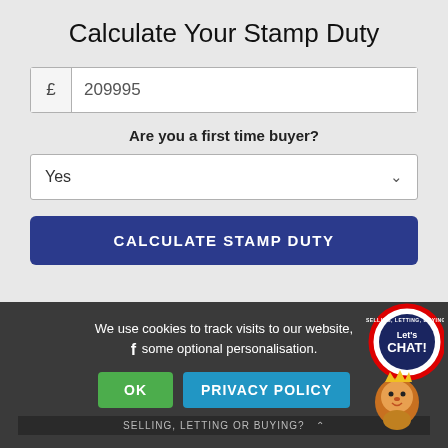Calculate Your Stamp Duty
£ 209995
Are you a first time buyer?
Yes
CALCULATE STAMP DUTY
We use cookies to track visits to our website, some optional personalisation.
OK
PRIVACY POLICY
SELLING, LETTING OR BUYING?
[Figure (logo): Lion mascot chat bubble with 'Let's CHAT!' text in a circular badge with red border and dark navy interior, with a cartoon lion figure below]